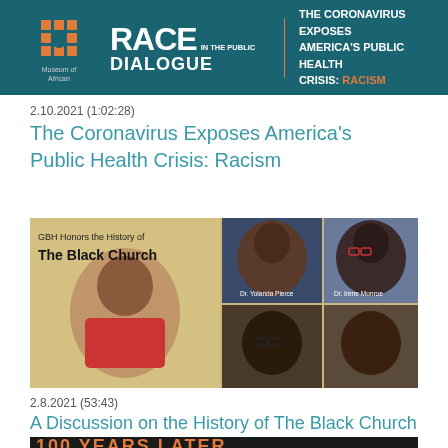[Figure (screenshot): Header banner for 'Race in the Public Dialogue' featuring Museum of African American History logo, teal background, orange arch logo, and text: THE CORONAVIRUS EXPOSES AMERICA'S PUBLIC HEALTH CRISIS: RACISM]
2.10.2021 (1:02:28)
The Coronavirus Exposes America's Public Health Crisis: Racism
[Figure (photo): GBH Honors the History of The Black Church promotional image featuring a woman in a red outfit on the left, Dr. Yolanda Pierce (top center), Dr. Irene Monroe (top right), and two more speakers below]
2.8.2021 (53:43)
A Discussion on the History of The Black Church
[Figure (photo): Partial banner showing '100 YEARS LATER' in orange text on dark background]